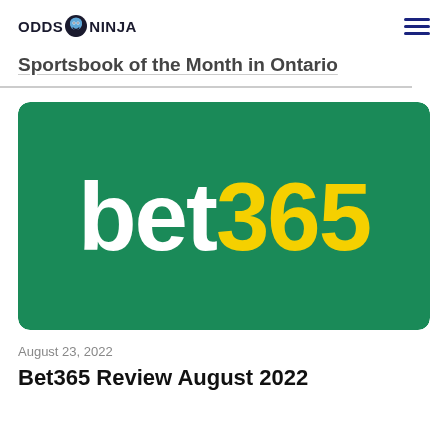ODDS NINJA (with ninja icon) [hamburger menu]
Sportsbook of the Month in Ontario
[Figure (logo): bet365 logo on dark green background — 'bet' in white bold text and '365' in yellow bold text, displayed on a rounded rectangle green card]
August 23, 2022
Bet365 Review August 2022